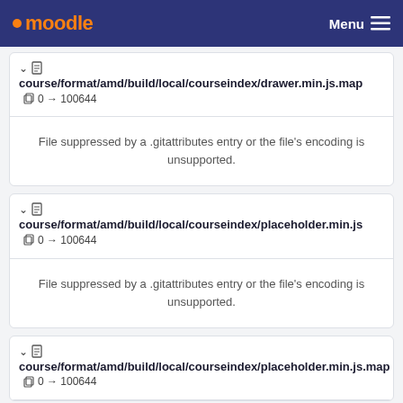moodle  Menu
course/format/amd/build/local/courseindex/drawer.min.js.map  0 → 100644
File suppressed by a .gitattributes entry or the file's encoding is unsupported.
course/format/amd/build/local/courseindex/placeholder.min.js  0 → 100644
File suppressed by a .gitattributes entry or the file's encoding is unsupported.
course/format/amd/build/local/courseindex/placeholder.min.js.map  0 → 100644